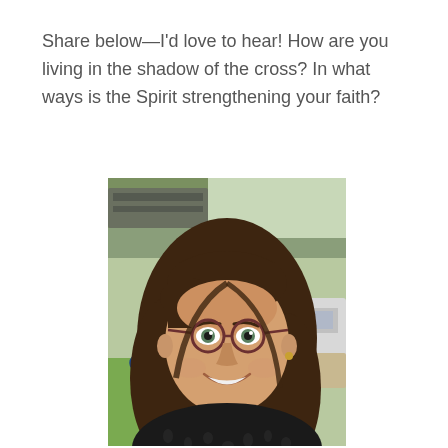Share below—I'd love to hear! How are you living in the shadow of the cross? In what ways is the Spirit strengthening your faith?
[Figure (photo): A smiling young woman with long brown hair and round glasses, wearing a leopard-print top, photographed outdoors with trees and a bridge visible in the background.]